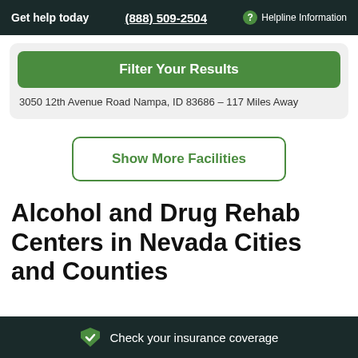Get help today  (888) 509-2504  ? Helpline Information
Filter Your Results
3050 12th Avenue Road Nampa, ID 83686 – 117 Miles Away
Show More Facilities
Alcohol and Drug Rehab Centers in Nevada Cities and Counties
Check your insurance coverage